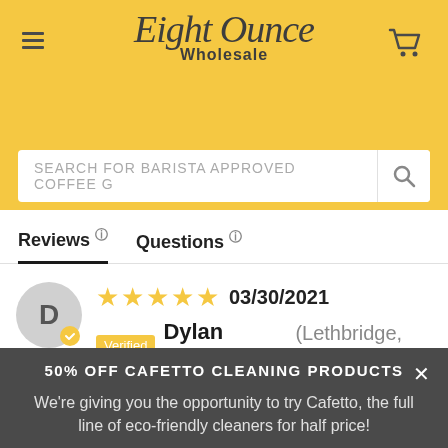Eight Ounce Wholesale
SEARCH FOR BARISTA APPROVED COFFEE G
Reviews  Questions
03/30/2021  Verified  Dylan Morris (Lethbridge, CA)
50% OFF CAFETTO CLEANING PRODUCTS
We're giving you the opportunity to try Cafetto, the full line of eco-friendly cleaners for half price!
SHOP CAFETTO